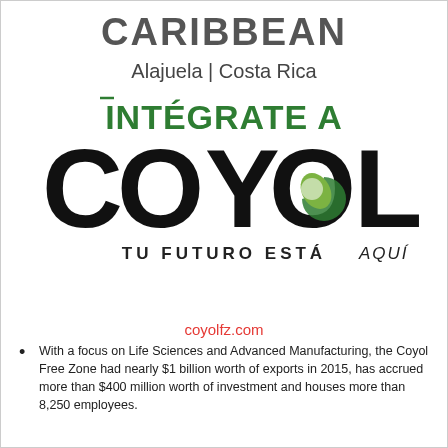CARIBBEAN
Alajuela | Costa Rica
[Figure (logo): Coyol Free Zone logo with text 'INTÉGRATE A COYOL TU FUTURO ESTÁ AQUÍ' — COYOL in large black letters with a green crescent/leaf design for the O, INTÉGRATE A in dark green uppercase, TU FUTURO ESTÁ AQUÍ in dark grey uppercase with AQUÍ in italic]
coyolfz.com
With a focus on Life Sciences and Advanced Manufacturing, the Coyol Free Zone had nearly $1 billion worth of exports in 2015, has accrued more than $400 million worth of investment and houses more than 8,250 employees.